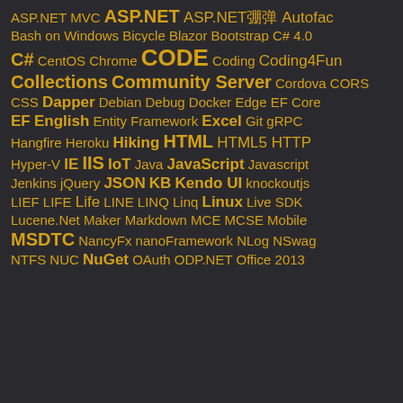ASP.NET MVC ASP.NET ASP.NET Core Autofac Bash on Windows Bicycle Blazor Bootstrap C# 4.0 C# CentOS Chrome CODE Coding Coding4Fun Collections Community Server Cordova CORS CSS Dapper Debian Debug Docker Edge EF Core EF English Entity Framework Excel Git gRPC Hangfire Heroku Hiking HTML HTML5 HTTP Hyper-V IE IIS IoT Java JavaScript Javascript Jenkins jQuery JSON KB Kendo UI knockoutjs LIEF LIFE Life LINE LINQ Linq Linux Live SDK Lucene.Net Maker Markdown MCE MCSE Mobile MSDTC NancyFx nanoFramework NLog NSwag NTFS NUC NuGet OAuth ODP.NET Office 2013